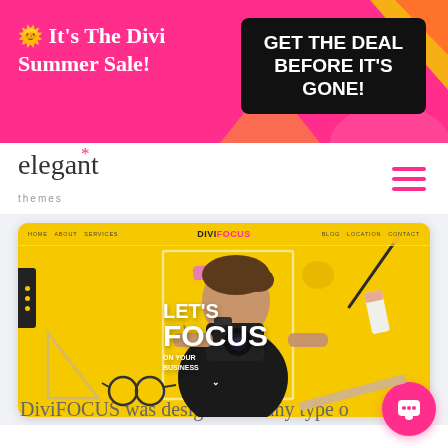[Figure (screenshot): Promotional banner with pink/magenta background showing 'It's The Divi Summer Sale!' on the left and 'GET THE DEAL BEFORE IT'S GONE!' button on the right with decorative yellow and orange shapes]
[Figure (logo): Elegant Themes logo in serif font with pink asterisk/star above the 't' and 'themes' in small gray text below, hamburger menu icon in pink on the right]
[Figure (screenshot): DiviFOCUS WordPress theme screenshot: yellow background with a photographer holding a camera, 'LET'S FOCUS ON YOUR BUSINESS' text overlay in white, triangle, glasses, eraser, pencil, ruler design elements scattered around]
DiviFOCUS was designed for any type o